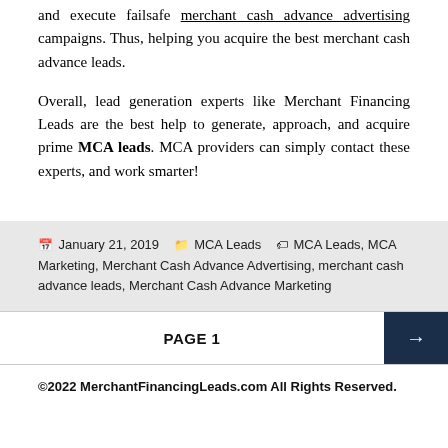and execute failsafe merchant cash advance advertising campaigns. Thus, helping you acquire the best merchant cash advance leads.
Overall, lead generation experts like Merchant Financing Leads are the best help to generate, approach, and acquire prime MCA leads. MCA providers can simply contact these experts, and work smarter!
January 21, 2019   MCA Leads   MCA Leads, MCA Marketing, Merchant Cash Advance Advertising, merchant cash advance leads, Merchant Cash Advance Marketing
PAGE 1
©2022 MerchantFinancingLeads.com All Rights Reserved.